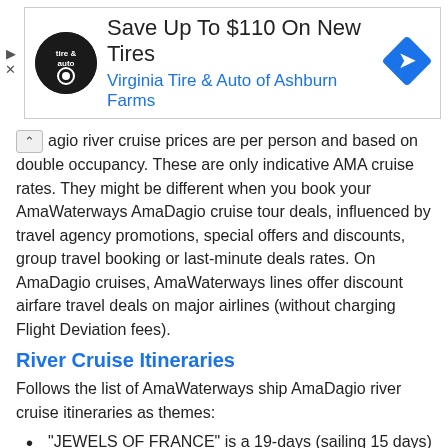[Figure (other): Advertisement banner for Virginia Tire & Auto of Ashburn Farms with logo, headline 'Save Up To $110 On New Tires', blue navigation arrow icon, and ad controls.]
agio river cruise prices are per person and based on double occupancy. These are only indicative AMA cruise rates. They might be different when you book your AmaWaterways AmaDagio cruise tour deals, influenced by travel agency promotions, special offers and discounts, group travel booking or last-minute deals rates. On AmaDagio cruises, AmaWaterways lines offer discount airfare travel deals on major airlines (without charging Flight Deviation fees).
River Cruise Itineraries
Follows the list of AmaWaterways ship AmaDagio river cruise itineraries as themes:
"JEWELS OF FRANCE" is a 19-days (sailing 15 days) Seine-Saone-Rhone river cruise from Paris and Barcelona. It is a "back-to-back" itinerary- ship travel on River Seine,